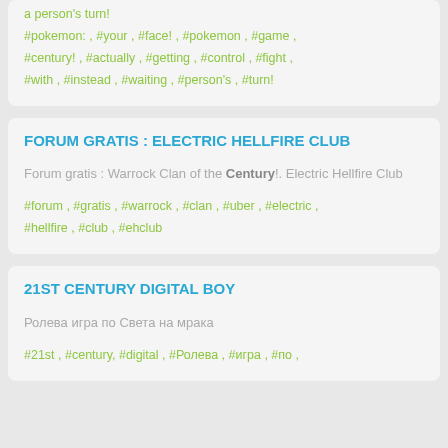#pokemon:  ,  #your  ,  #face!  ,  #pokemon  ,  #game  ,  #century!  ,  #actually  ,  #getting  ,  #control  ,  #fight  ,  #with  ,  #instead  ,  #waiting  ,  #person's  ,  #turn!
FORUM GRATIS : ELECTRIC HELLFIRE CLUB
Forum gratis : Warrock Clan of the Century!. Electric Hellfire Club
#forum  ,  #gratis  ,  #warrock  ,  #clan  ,  #uber  ,  #electric  ,  #hellfire  ,  #club  ,  #ehclub
21ST CENTURY DIGITAL BOY
Ролева игра по Света на мрака
#21st  ,  #century,  #digital  ,  #Ролева  ,  #игра  ,  #по  ,